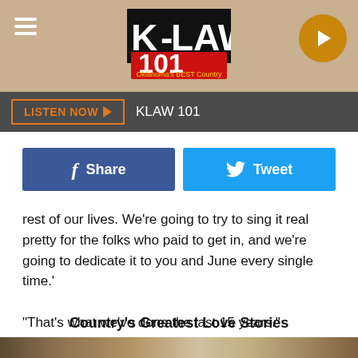[Figure (screenshot): K-LAW 101 Oklahoma's Best Country radio station header banner with textured tan background, hamburger menu icon on left, K-LAW 101 logo in center, and orange play button circle on right]
LISTEN NOW  KLAW 101
[Figure (infographic): Facebook Share button (dark blue) and Twitter Tweet button (light blue) side by side]
rest of our lives. We’re going to try to sing it real pretty for the folks who paid to get in, and we’re going to dedicate it to you and June every single time.’

"That’s what we’ve done the last 15 years."

"Help Me" is available for download on iTunes.
Country's Greatest Love Stories
[Figure (photo): Partial bottom image strip showing animals/nature scene]